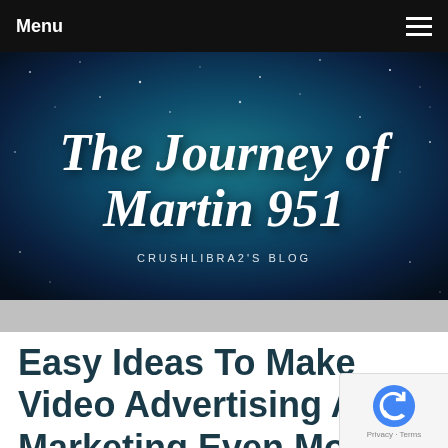Menu
[Figure (screenshot): Blog header banner with dark starry night sky background. Large cursive white text reads 'The Journey of Martin 951'. Below it in small spaced caps: 'CRUSHLIBRA2'S BLOG'.]
Easy Ideas To Make Video Advertising And Marketing Even More Fruitful